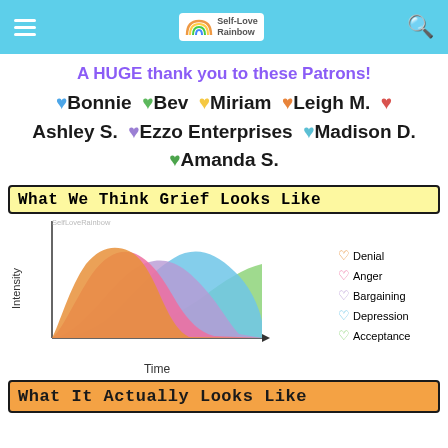Self-Love Rainbow
A HUGE thank you to these Patrons! 💙Bonnie 💚Bev 💛Miriam 🧡Leigh M. ❤️ Ashley S. 💜Ezzo Enterprises 💙Madison D. 💚Amanda S.
[Figure (area-chart): Overlapping area chart showing the 5 stages of grief (Denial, Anger, Bargaining, Depression, Acceptance) plotted against Time (x-axis) and Intensity (y-axis). Each stage is a different color: orange for Denial, pink/red for Anger, purple for Bargaining, light blue for Depression, green for Acceptance.]
What It Actually Looks Like